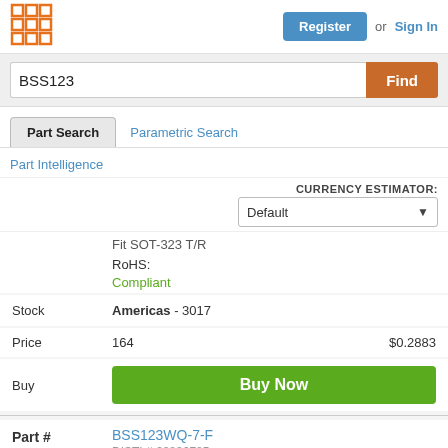Register or Sign In
BSS123
Part Search  Parametric Search
Part Intelligence
CURRENCY ESTIMATOR: Default
Fit SOT-323 T/R
RoHS: Compliant
Stock  Americas - 3017
Price  164  $0.2883
Buy  Buy Now
Part #  BSS123WQ-7-F  DISTI # 62836785